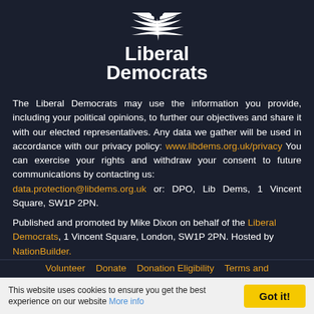[Figure (logo): Liberal Democrats logo with bird/wing motif and bold text 'Liberal Democrats']
The Liberal Democrats may use the information you provide, including your political opinions, to further our objectives and share it with our elected representatives. Any data we gather will be used in accordance with our privacy policy: www.libdems.org.uk/privacy You can exercise your rights and withdraw your consent to future communications by contacting us: data.protection@libdems.org.uk or: DPO, Lib Dems, 1 Vincent Square, SW1P 2PN.
Published and promoted by Mike Dixon on behalf of the Liberal Democrats, 1 Vincent Square, London, SW1P 2PN. Hosted by NationBuilder.
Volunteer   Donate   Donation Eligibility   Terms and
This website uses cookies to ensure you get the best experience on our website More info  Got it!